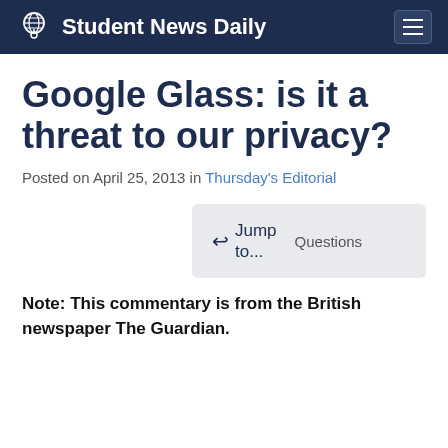Student News Daily
Google Glass: is it a threat to our privacy?
Posted on April 25, 2013 in Thursday's Editorial
Jump to... Questions
Note: This commentary is from the British newspaper The Guardian.